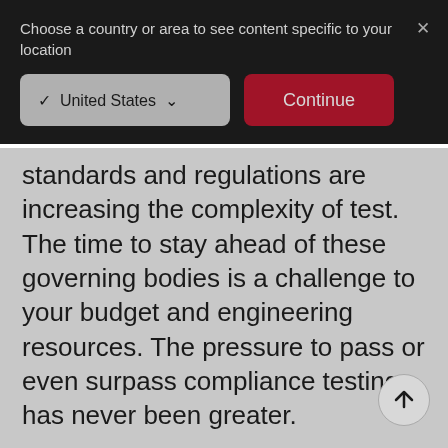Choose a country or area to see content specific to your location
✓ United States
Continue
standards and regulations are increasing the complexity of test. The time to stay ahead of these governing bodies is a challenge to your budget and engineering resources. The pressure to pass or even surpass compliance testing has never been greater.
Our lab testing service in Boeblingen, Germany, helps your test engineers to simulate, debug, and comply your equipment to global standards and